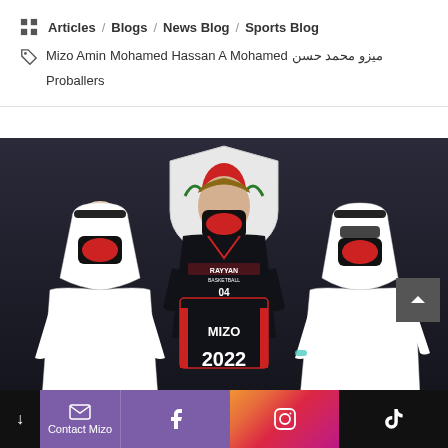Articles / Blogs / News Blog / Sports Blog
Mizo Amin Mohamed Hassan A Mohamed محمد حسن ميزو Proballers
[Figure (photo): Three men wearing black face masks standing in front of a Rayyan Basketball club backdrop. The center person holds a black jersey with 'MIZO' printed on it and '2022' visible below. All three men are wearing traditional Qatari white thobes except for the center one who is in a Rayyan Basketball team uniform.]
Contact Mizo | Facebook | Instagram | TikTok